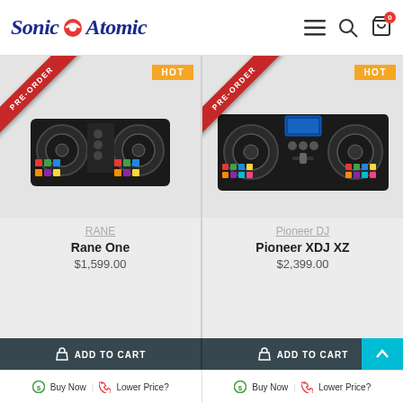Sonic Atomic — navigation header with logo, hamburger menu, search, and cart icons
[Figure (photo): DJ controller product image: Rane One with PRE-ORDER ribbon and HOT badge]
[Figure (photo): DJ controller product image: Pioneer XDJ XZ with PRE-ORDER ribbon and HOT badge]
RANE
Rane One
$1,599.00
Pioneer DJ
Pioneer XDJ XZ
$2,399.00
ADD TO CART
ADD TO CART
Buy Now   Lower Price?
Buy Now   Lower Price?